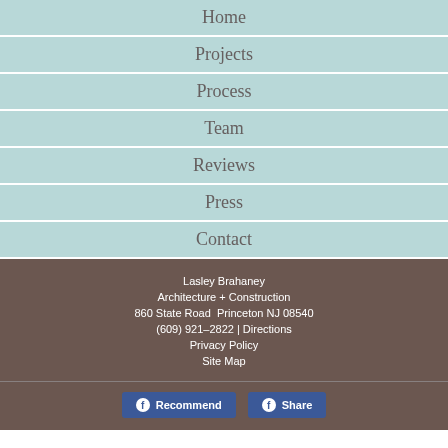Home
Projects
Process
Team
Reviews
Press
Contact
Lasley Brahaney
Architecture + Construction
860 State Road  Princeton NJ 08540
(609) 921–2822 | Directions
Privacy Policy
Site Map
Recommend   Share